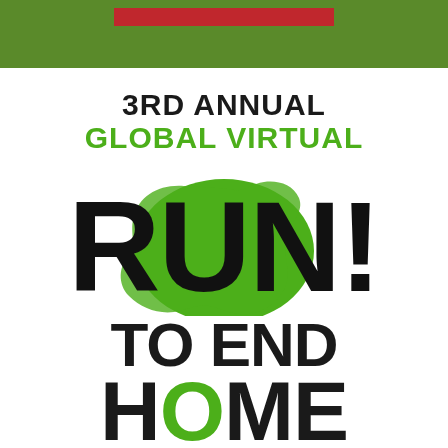[Figure (illustration): Green header bar with red accent bar inside, event logo area at top of poster]
3RD ANNUAL GLOBAL VIRTUAL RUN! TO END HOME
[Figure (illustration): Large bold text RUN! with green Africa continent silhouette overlaid behind the letters in large display typography]